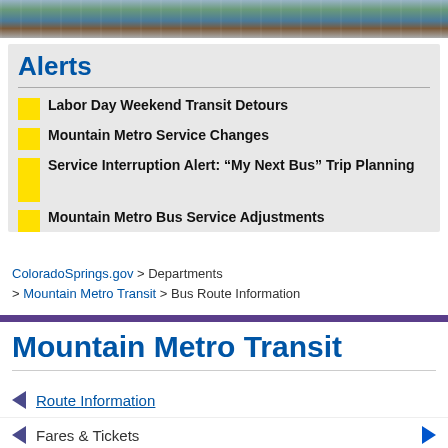[Figure (photo): Aerial/panoramic photo of Colorado Springs city skyline with buildings, trees, and sky]
Alerts
Labor Day Weekend Transit Detours
Mountain Metro Service Changes
Service Interruption Alert: “My Next Bus” Trip Planning
Mountain Metro Bus Service Adjustments
ColoradoSprings.gov > Departments > Mountain Metro Transit > Bus Route Information
Mountain Metro Transit
Route Information
Fares & Tickets